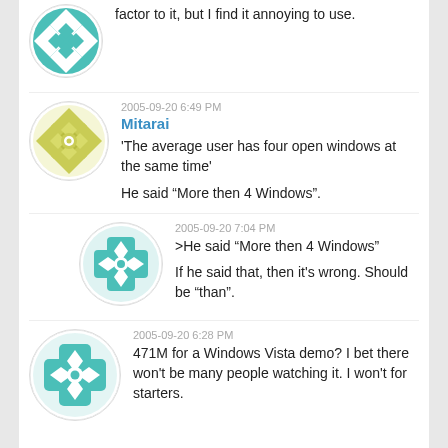factor to it, but I find it annoying to use.
2005-09-20 6:49 PM
Mitarai
'The average user has four open windows at the same time'
He said “More then 4 Windows”.
2005-09-20 7:04 PM
>He said “More then 4 Windows”
If he said that, then it’s wrong. Should be “than”.
2005-09-20 6:28 PM
471M for a Windows Vista demo? I bet there won’t be many people watching it. I won’t for starters.